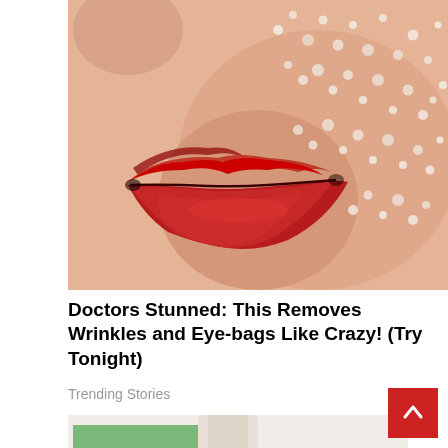[Figure (photo): Close-up photo of a woman's face showing bright red lips and skin covered in sparkling sugar crystals or water droplets]
Doctors Stunned: This Removes Wrinkles and Eye-bags Like Crazy! (Try Tonight)
Trending Stories
[Figure (photo): Partial image of a green bowl or cup with a white object beside it, partially visible at bottom of page]